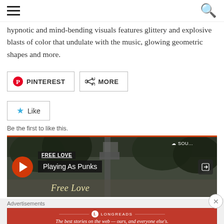hypnotic and mind-bending visuals features glittery and explosive blasts of color that undulate with the music, glowing geometric shapes and more.
[Figure (screenshot): Share buttons: Pinterest (with Pinterest logo) and More (with share icon)]
[Figure (screenshot): Like button with blue star icon and 'Like' text. Below: 'Be the first to like this.']
Be the first to like this.
[Figure (screenshot): Music player widget with red-orange top border. Shows play button (red circle with white triangle), track info: FREE LOVE / Playing As Punks, SoundCloud logo, share icon, and 'Free Love' italic text over a background photo of trees and a street sign.]
Advertisements
[Figure (screenshot): Longreads advertisement banner in red: circular logo with L, LONGREADS name, tagline: The best stories on the web — ours, and everyone else's.]